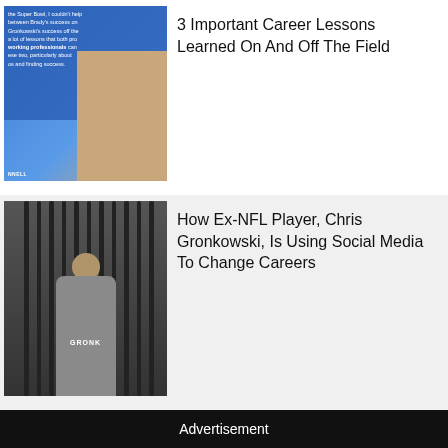[Figure (photo): Thumbnail image of woman with blue overlay card showing partial text about Super Bowl and career lessons]
3 Important Career Lessons Learned On And Off The Field
[Figure (photo): Thumbnail image of ex-NFL player Chris Gronkowski in a gym, arms crossed, wearing grey shirt with GYM branding]
How Ex-NFL Player, Chris Gronkowski, Is Using Social Media To Change Careers
Advertisement